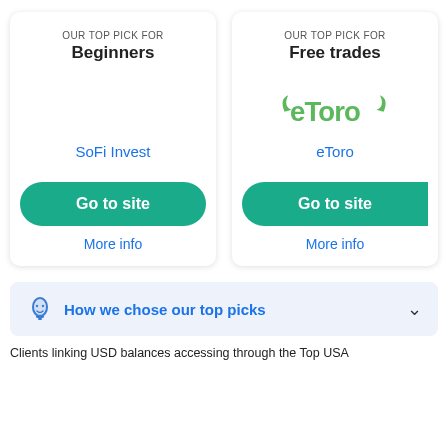[Figure (infographic): Two product cards side by side. Left card: OUR TOP PICK FOR Beginners - SoFi Invest with Go to site button and More info link. Right card: OUR TOP PICK FOR Free trades - eToro logo and eToro name with Go to site button and More info link.]
How we chose our top picks
Clients linking USD balances accessing through the Top USA...